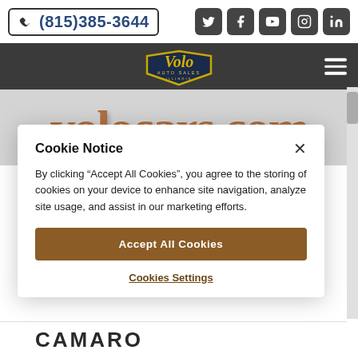(815)385-3644
[Figure (screenshot): Social media icons: Twitter, Facebook, YouTube, Instagram, LinkedIn]
[Figure (logo): Volo Auto Sales Illinois logo with gold cursive lettering and shield emblem]
[Figure (screenshot): volocars.com banner with large brown 3D text on grey background]
Cookie Notice
By clicking "Accept All Cookies", you agree to the storing of cookies on your device to enhance site navigation, analyze site usage, and assist in our marketing efforts.
Accept All Cookies
Cookies Settings
CAMARO